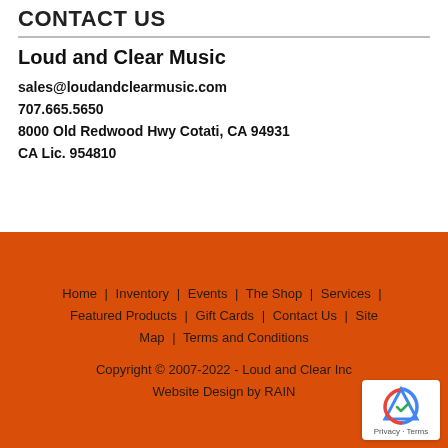CONTACT US
Loud and Clear Music
sales@loudandclearmusic.com
707.665.5650
8000 Old Redwood Hwy Cotati, CA 94931
CA Lic. 954810
Home | Inventory | Events | The Shop | Services | Featured Products | Gift Cards | Contact Us | Site Map | Terms and Conditions
Copyright © 2007-2022 - Loud and Clear Inc
Website Design by RAIN